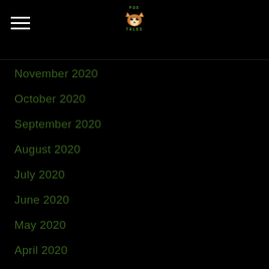FOX TALES
November 2020
October 2020
September 2020
August 2020
July 2020
June 2020
May 2020
April 2020
March 2020
February 2020
January 2020
December 2019
November 2019
October 2019
September 2019
August 2019
July 2019
June 2019